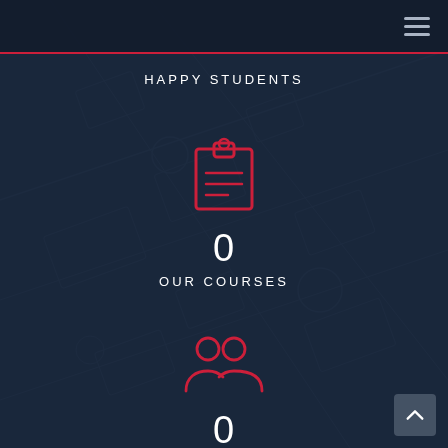Navigation bar with hamburger menu
HAPPY STUDENTS
[Figure (illustration): Red outline clipboard icon with lines representing course content]
0
OUR COURSES
[Figure (illustration): Red outline group of people / subscribers icon]
0
SUBSCRIBERS